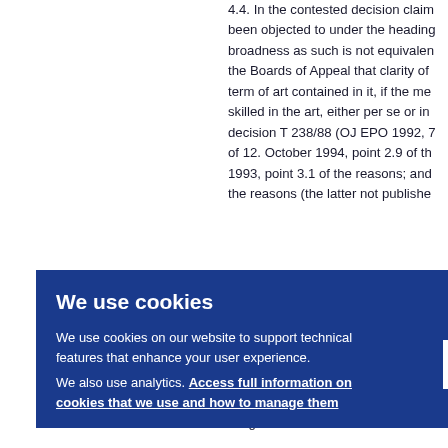4.4. In the contested decision claim... been objected to under the heading... broadness as such is not equivalen... the Boards of Appeal that clarity of... term of art contained in it, if the me... skilled in the art, either per se or in... decision T 238/88 (OJ EPO 1992, 7... of 12. October 1994, point 2.9 of th... 1993, point 3.1 of the reasons; and... the reasons (the latter not publishe... i.e. "c... t 3.1 d... ms, n... r basi... mpre... obje... nose... llenge...
We use cookies

We use cookies on our website to support technical features that enhance your user experience.

We also use analytics. Access full information on cookies that we use and how to manage them